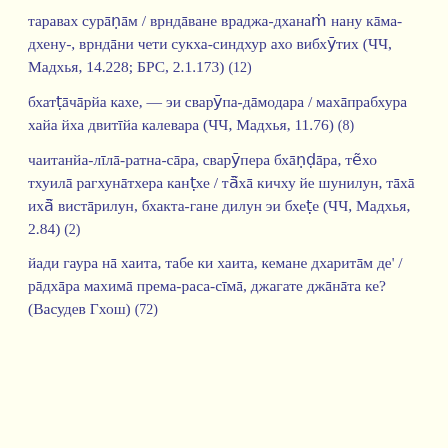таравах сурāṇāм / врндāване враджа-дханаṁ нану кāма-дхену-, врндāни чети сукха-синдхур ахо вибхӯтих (ЧЧ, Мадхья, 14.228; БРС, 2.1.173) (12)
бхатṭāчāрйа кахе, — эи сварӯпа-дāмодара / махāпрабхура хайа йха двитīйа калевара (ЧЧ, Мадхья, 11.76) (8)
чаитанйа-лīлā-ратна-сāра, сварӯпера бхāṇḍāра, тẽхо тхуилā рагхунāтхера канṭхе / тā̃хā кичху йе шунилун, тāхā ихā̃ вистāрилун, бхакта-гане дилун эи бхеṭе (ЧЧ, Мадхья, 2.84) (2)
йади гаура нā хаита, табе ки хаита, кемане дхаритāм де' / рāдхāра махимā према-раса-сīмā, джагате джāнāта ке? (Васудев Гхош) (72)